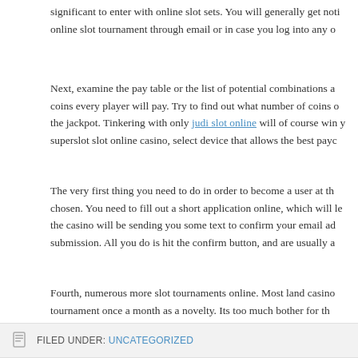significant to enter with online slot sets. You will generally get notified about the online slot tournament through email or in case you log into any o...
Next, examine the pay table or the list of potential combinations a... coins every player will pay. Try to find out what number of coins o... the jackpot. Tinkering with only judi slot online will of course win y... superslot slot online casino, select device that allows the best payc...
The very first thing you need to do in order to become a user at th... chosen. You need to fill out a short application online, which will le... the casino will be sending you some text to confirm your email ad... submission. All you do is hit the confirm button, and are usually a...
Fourth, numerous more slot tournaments online. Most land casino... tournament once a month as a novelty. Its too much bother for th... run. But slot tournaments are fun and becoming a more favorable... offer slot tournaments for hours everyday, with all level of buy-ins...
FILED UNDER: UNCATEGORIZED